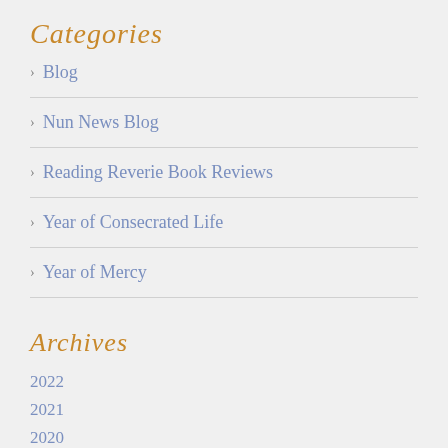Categories
Blog
Nun News Blog
Reading Reverie Book Reviews
Year of Consecrated Life
Year of Mercy
Archives
2022
2021
2020
2019